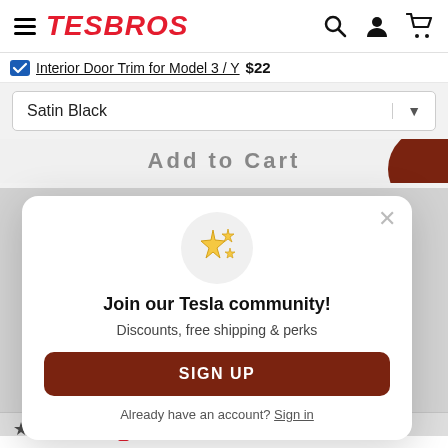TESBROS
Interior Door Trim for Model 3 / Y $22
Satin Black
[Figure (screenshot): Modal popup with sparkle icon, Join our Tesla community! heading, Discounts, free shipping & perks text, SIGN UP button, and Already have an account? Sign in link]
Join our Tesla community!
Discounts, free shipping & perks
SIGN UP
Already have an account? Sign in
(11)